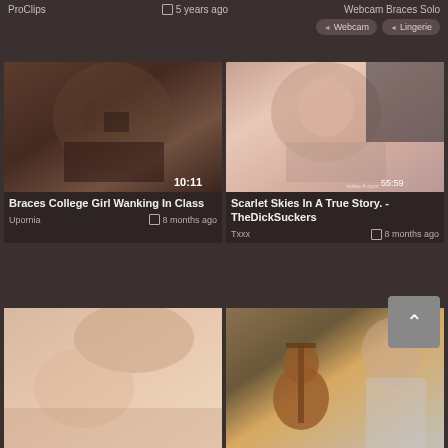ProClips   5 years ago   Webcam Braces Solo
Webcam   Lingerie
[Figure (screenshot): Video thumbnail showing tattooed person in plaid skirt, duration 10:11]
Braces College Girl Wanking In Class
Upornia   8 months ago
[Figure (screenshot): Video thumbnail showing redhead woman with glasses, duration 55:59, watermark video-4.com]
Scarlet Skies In A True Story. - TheDickSuckers
Txxx   8 months ago
[Figure (screenshot): Partial video thumbnail bottom left - blonde person]
[Figure (screenshot): Partial video thumbnail bottom right - guitar and person]